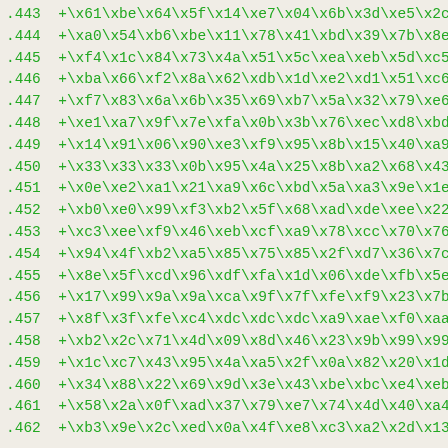.443  +\x61\xbe\x64\x5f\x14\xe7\x04\x6b\x3d\xe5\x2c\
.444  +\xa0\x54\xb6\xbe\x11\x78\x41\xbd\x39\x7b\x8e\
.445  +\xf4\x1c\x84\x73\x4a\x51\x5c\xea\xeb\x5d\xc5\
.446  +\xba\x66\xf2\x8a\x62\xdb\x1d\xe2\xd1\x51\xc6\
.447  +\xf7\x83\x6a\x6b\x35\x69\xb7\x5a\x32\x79\xe6\
.448  +\xe1\xa7\x9f\x7e\xfa\x0b\x3b\x76\xec\xd8\xbd\
.449  +\x14\x91\x06\x90\xe3\xf9\x95\x8b\x15\x40\xa9\
.450  +\x33\x33\x33\x0b\x95\x4a\x25\x8b\xa2\x68\x43\
.451  +\x0e\xe2\xa1\x21\xa9\x6c\xbd\x5a\xa3\x9e\x1e\
.452  +\xb0\xe0\x99\xf3\xb2\x5f\x68\xad\xde\xee\x22\
.453  +\xc3\xee\xf9\x46\xeb\xcf\xa9\x78\xcc\x70\x76\
.454  +\x94\x4f\xb2\xa5\x85\x75\x85\x2f\xd7\x36\x7c\
.455  +\x8e\x5f\xcd\x96\xdf\xfa\x1d\x06\xde\xfb\x5e\
.456  +\x17\x99\x9a\x9a\xca\x9f\x7f\xfe\xf9\x23\x7b\
.457  +\x8f\x3f\xfe\xc4\xdc\xdc\xdc\xa9\xae\xf0\xaa\
.458  +\xb2\x2c\x71\x4d\x09\x8d\x46\x23\x9b\x99\x99\
.459  +\x1c\xc7\x43\x95\x4a\xa5\x2f\x0a\x82\x20\x1d\
.460  +\x34\x88\x22\x69\x9d\x3e\x43\xbe\xbc\xe4\xeb\
.461  +\x58\x2a\x0f\xad\x37\x79\xe7\x74\x4d\x40\xa4\
.462  +\xb3\x9e\x2c\xed\x0a\x4f\xe8\xc3\xa2\x2d\x13\